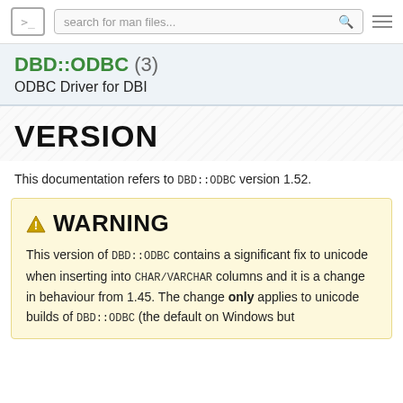>_   search for man files...   ≡
DBD::ODBC (3)
ODBC Driver for DBI
VERSION
This documentation refers to DBD::ODBC version 1.52.
WARNING
This version of DBD::ODBC contains a significant fix to unicode when inserting into CHAR/VARCHAR columns and it is a change in behaviour from 1.45. The change only applies to unicode builds of DBD::ODBC (the default on Windows but